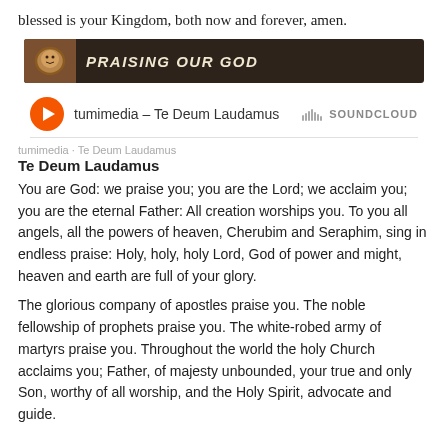blessed is your Kingdom, both now and forever, amen.
[Figure (illustration): Banner with lion image and text 'Praising Our God' on dark brown background]
[Figure (screenshot): SoundCloud widget: play button, title 'tumimedia – Te Deum Laudamus', SoundCloud logo]
tumimedia · Te Deum Laudamus
Te Deum Laudamus
You are God: we praise you; you are the Lord; we acclaim you; you are the eternal Father: All creation worships you. To you all angels, all the powers of heaven, Cherubim and Seraphim, sing in endless praise: Holy, holy, holy Lord, God of power and might, heaven and earth are full of your glory.
The glorious company of apostles praise you. The noble fellowship of prophets praise you. The white-robed army of martyrs praise you. Throughout the world the holy Church acclaims you; Father, of majesty unbounded, your true and only Son, worthy of all worship, and the Holy Spirit, advocate and guide.